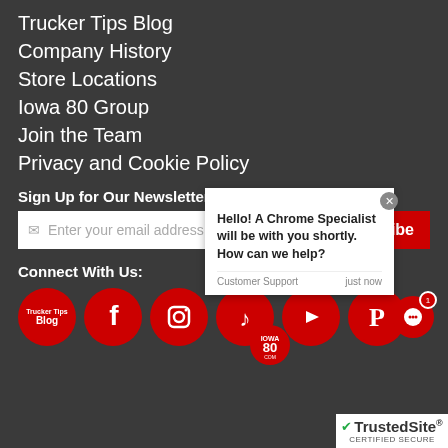Trucker Tips Blog
Company History
Store Locations
Iowa 80 Group
Join the Team
Privacy and Cookie Policy
Sign Up for Our Newsletter
Enter your email address
Subscribe
Connect With Us:
[Figure (screenshot): Chat popup: 'Hello! A Chrome Specialist will be with you shortly. How can we help?' with Customer Support label and 'just now' timestamp]
[Figure (logo): Iowa 80 badge logo]
[Figure (infographic): Social media icons row: Trucker Tips Blog, Facebook, Instagram, TikTok, YouTube, Pinterest]
[Figure (logo): TrustedSite Certified Secure badge]